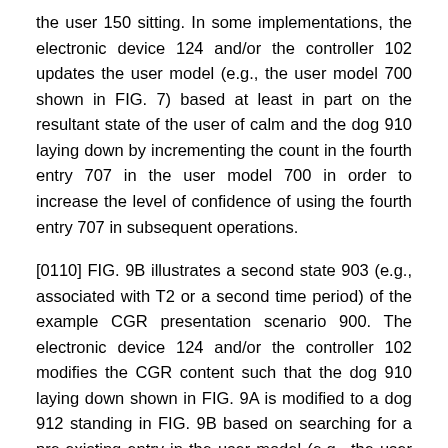the user 150 sitting. In some implementations, the electronic device 124 and/or the controller 102 updates the user model (e.g., the user model 700 shown in FIG. 7) based at least in part on the resultant state of the user of calm and the dog 910 laying down by incrementing the count in the fourth entry 707 in the user model 700 in order to increase the level of confidence of using the fourth entry 707 in subsequent operations.
[0110] FIG. 9B illustrates a second state 903 (e.g., associated with T2 or a second time period) of the example CGR presentation scenario 900. The electronic device 124 and/or the controller 102 modifies the CGR content such that the dog 910 laying down shown in FIG. 9A is modified to a dog 912 standing in FIG. 9B based on searching for a pre-existing entry in the user model (e.g., the user model 700 shown in FIG. 7) where the target state matches the resultant state, and the CGR content is closely related to the CGR content of the dog 910 laying down. With reference to FIG. 7, the fifth entry 709